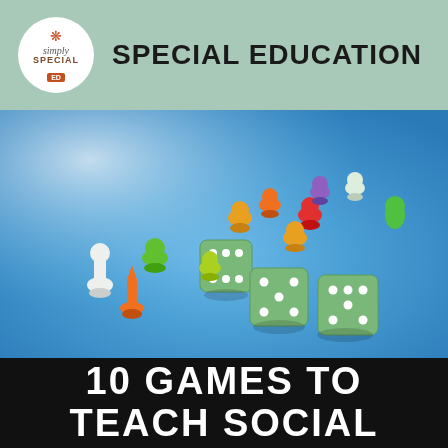simply Special ED — SPECIAL EDUCATION
[Figure (photo): Colorful board game pieces (pawns in green, orange, red, yellow, purple, white) and three green dice scattered on a blue surface]
10 GAMES TO TEACH SOCIAL